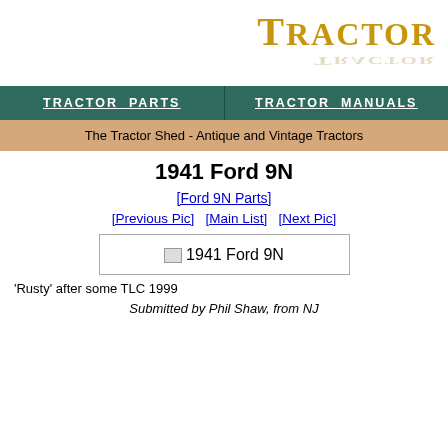[Figure (logo): Tractor logo text in gold with reflection effect, right-aligned]
TRACTOR PARTS | TRACTOR MANUALS
The Tractor Shed - Antique and Vintage Tractors
1941 Ford 9N
[Ford 9N Parts]
[Previous Pic]  [Main List]  [Next Pic]
[Figure (photo): 1941 Ford 9N tractor image placeholder]
'Rusty' after some TLC 1999
Submitted by Phil Shaw, from NJ